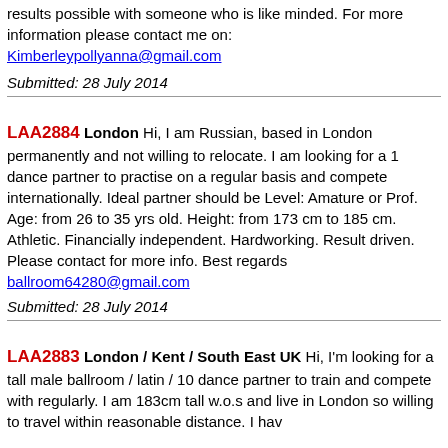results possible with someone who is like minded. For more information please contact me on: Kimberleypollyanna@gmail.com
Submitted: 28 July 2014
LAA2884 London Hi, I am Russian, based in London permanently and not willing to relocate. I am looking for a 1 dance partner to practise on a regular basis and compete internationally. Ideal partner should be Level: Amature or Prof. Age: from 26 to 35 yrs old. Height: from 173 cm to 185 cm. Athletic. Financially independent. Hardworking. Result driven. Please contact for more info. Best regards ballroom64280@gmail.com
Submitted: 28 July 2014
LAA2883 London / Kent / South East UK Hi, I'm looking for a tall male ballroom / latin / 10 dance partner to train and compete with regularly. I am 183cm tall w.o.s and live in London so willing to travel within reasonable distance. I have